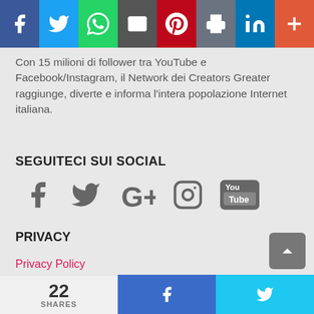[Figure (screenshot): Top social sharing bar with icons for Facebook, Twitter, WhatsApp, Email, Pinterest, Print, LinkedIn, and More]
Con 15 milioni di follower tra YouTube e Facebook/Instagram, il Network dei Creators Greater raggiunge, diverte e informa l’intera popolazione Internet italiana.
SEGUITECI SUI SOCIAL
[Figure (illustration): Social media icons: Facebook, Twitter, Google+, Instagram, YouTube]
PRIVACY
Privacy Policy
[Figure (screenshot): Bottom share bar showing 22 SHARES count, Facebook share button, Twitter share button]